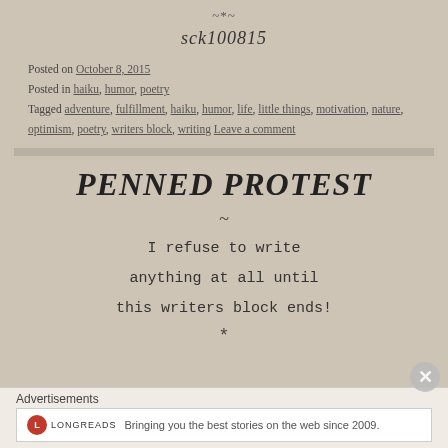~*~
sck100815
Posted on October 8, 2015
Posted in haiku, humor, poetry
Tagged adventure, fulfillment, haiku, humor, life, little things, motivation, nature, optimism, poetry, writers block, writing Leave a comment
PENNED PROTEST
~
I refuse to write
anything at all until
this writers block ends!
Advertisements
Bringing you the best stories on the web since 2009.